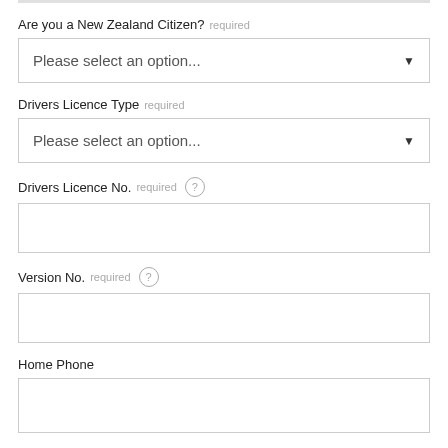Are you a New Zealand Citizen? required
Please select an option...
Drivers Licence Type required
Please select an option...
Drivers Licence No. required
Version No. required
Home Phone